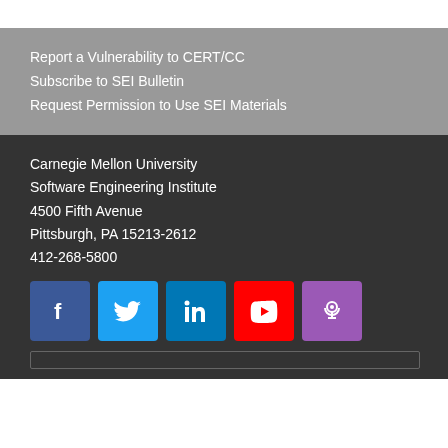Report a Vulnerability to CERT/CC
Subscribe to SEI Bulletin
Request Permission to Use SEI Materials
Carnegie Mellon University
Software Engineering Institute
4500 Fifth Avenue
Pittsburgh, PA 15213-2612
412-268-5800
[Figure (logo): Social media icons: Facebook, Twitter, LinkedIn, YouTube, Podcasts]